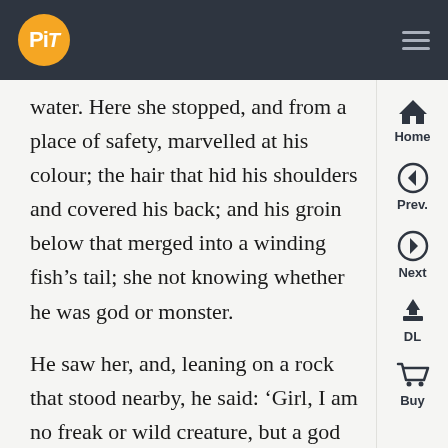PiT logo and navigation header
water. Here she stopped, and from a place of safety, marvelled at his colour; the hair that hid his shoulders and covered his back; and his groin below that merged into a winding fish’s tail; she not knowing whether he was god or monster.

He saw her, and, leaning on a rock that stood nearby, he said: ‘Girl, I am no freak or wild creature, but a god of the sea. Proteus, Triton, or Palaemon son of Athamas, have no greater power in the ocean. Mortal once, but no doubt destined for the deep, even then I worked the waves: now drawing in the drag nets full of fish, now sitting on